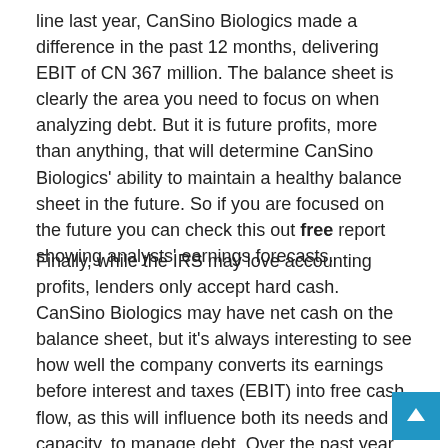line last year, CanSino Biologics made a difference in the past 12 months, delivering EBIT of CN 367 million. The balance sheet is clearly the area you need to focus on when analyzing debt. But it is future profits, more than anything, that will determine CanSino Biologics' ability to maintain a healthy balance sheet in the future. So if you are focused on the future you can check this out free report showing analysts' earnings forecasts.
Finally, while the IRS may love accounting profits, lenders only accept hard cash. CanSino Biologics may have net cash on the balance sheet, but it's always interesting to see how well the company converts its earnings before interest and taxes (EBIT) into free cash flow, as this will influence both its needs and its capacity. to manage debt. Over the past year, CanSino Biologics recorded substantial total negative free cash flow. While this may be the result of spending on growth, it makes debt much riskier.